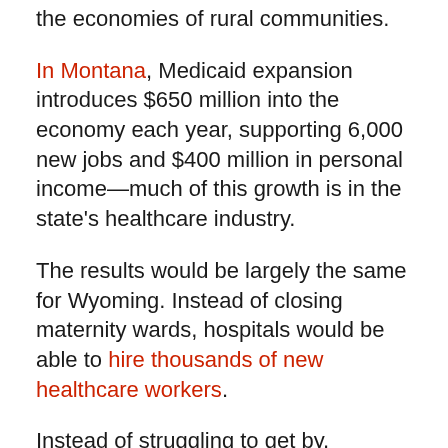the economies of rural communities.
In Montana, Medicaid expansion introduces $650 million into the economy each year, supporting 6,000 new jobs and $400 million in personal income—much of this growth is in the state's healthcare industry.
The results would be largely the same for Wyoming. Instead of closing maternity wards, hospitals would be able to hire thousands of new healthcare workers.
Instead of struggling to get by, Wyoming hospitals would be able to offer robust health services to state residents and help local